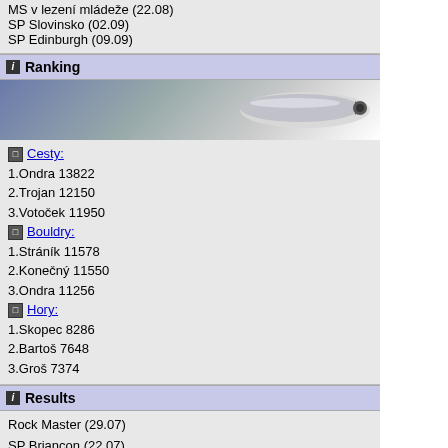MS v lezení mládeže (22.08)
SP Slovinsko (02.09)
SP Edinburgh (09.09)
Ranking
[Figure (illustration): Decorative banner image with gradient blue-grey background and a whistle/pen illustration]
Cesty:
1.Ondra 13822
2.Trojan 12150
3.Votoček 11950
Bouldry:
1.Stráník 11578
2.Konečný 11550
3.Ondra 11256
Hory:
1.Skopec 8286
2.Bartoš 7648
3.Groš 7374
Results
Rock Master (29.07)
SP Briancon (22.07)
SP Chamonix (08.07)
Diary
5304 lezců
988188 cest
Nové přelezy:
Kompressor 11-
Mozkodlabá Xa
Mozkodlabá Xa
Atomic Pla 8A+